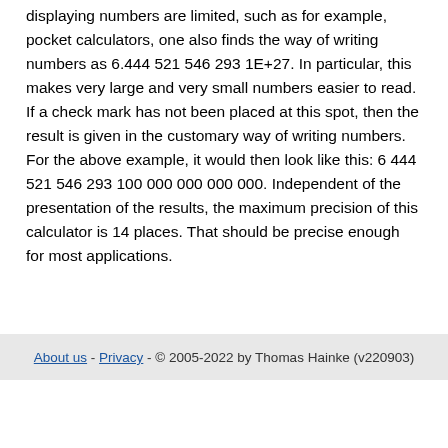displaying numbers are limited, such as for example, pocket calculators, one also finds the way of writing numbers as 6.444 521 546 293 1E+27. In particular, this makes very large and very small numbers easier to read. If a check mark has not been placed at this spot, then the result is given in the customary way of writing numbers. For the above example, it would then look like this: 6 444 521 546 293 100 000 000 000 000. Independent of the presentation of the results, the maximum precision of this calculator is 14 places. That should be precise enough for most applications.
About us - Privacy - © 2005-2022 by Thomas Hainke (v220903)